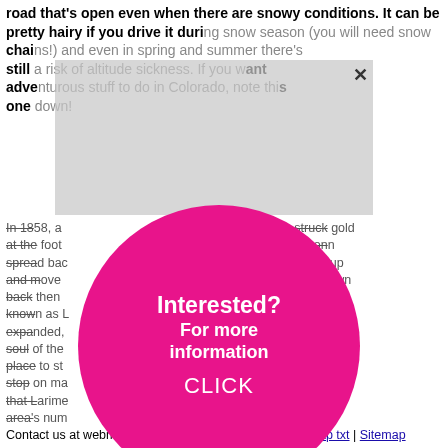road that's open even when there are snowy conditions. It can be pretty hairy if you drive it during snow season (you will need snow chains!) and even in spring and summer there's still a risk of altitude sickness. If you want adventurous stuff to do in Colorado, note this one down!
[Figure (infographic): Magenta circle with text 'Interested? For more information CLICK' overlaid on greyed-out popup with X close button]
In 1858, a ... struck gold at the foot ... soon spread back ... to pick up and move ... camp (known back then ... area now known as ... once expanded, ... heart and soul of the ... it's the place to st... featured stop on ma... visitors attest that Larime... thanks to the area's num... venues.
Contact us at webmaster "at" denver-nightlife.net | Sitemap txt | Sitemap